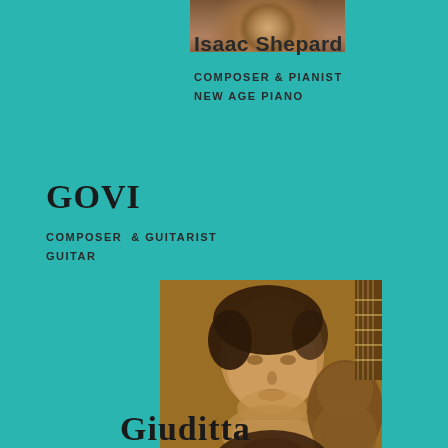[Figure (photo): Portrait photo of Isaac Shepard cropped at top of page]
Isaac Shepard
COMPOSER & PIANIST
NEW AGE PIANO
GOVI
COMPOSER  & GUITARIST
GUITAR
[Figure (photo): Sepia-toned portrait photo of Giuditta, a woman with short dark hair resting her chin on her hand next to a guitar]
Giuditta